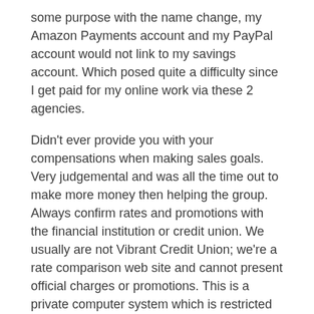some purpose with the name change, my Amazon Payments account and my PayPal account would not link to my savings account. Which posed quite a difficulty since I get paid for my online work via these 2 agencies.
Didn't ever provide you with your compensations when making sales goals. Very judgemental and was all the time out to make more money then helping the group. Always confirm rates and promotions with the financial institution or credit union. We usually are not Vibrant Credit Union; we're a rate comparison web site and cannot present official charges or promotions. This is a private computer system which is restricted to authorized individuals. Actual or tried unauthorized use of this laptop system will end in legal and/or civil prosecution.